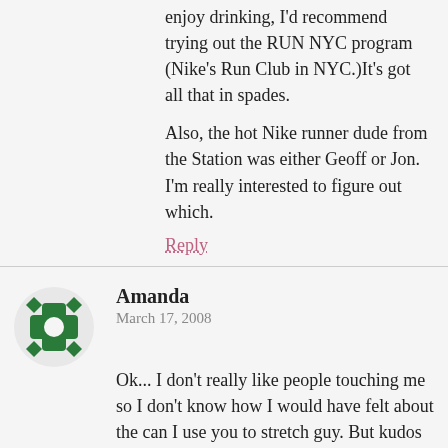enjoy drinking, I'd recommend trying out the RUN NYC program (Nike's Run Club in NYC.)It's got all that in spades.
Also, the hot Nike runner dude from the Station was either Geoff or Jon. I'm really interested to figure out which.
Reply
Amanda
March 17, 2008
Ok... I don't really like people touching me so I don't know how I would have felt about the can I use you to stretch guy. But kudos for getting up and at it!!
I agree, I wish they had signs near the end of every race!
Reply
Mendy
March 19, 2008